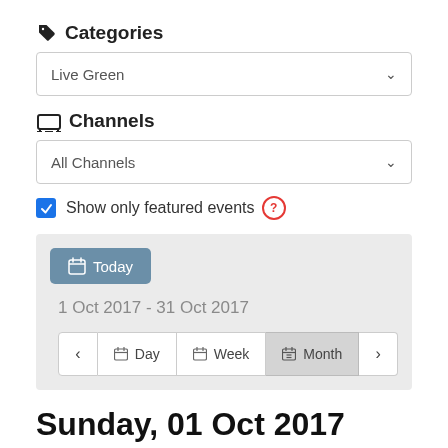Categories
[Figure (screenshot): Dropdown selector showing 'Live Green' with chevron arrow]
Channels
[Figure (screenshot): Dropdown selector showing 'All Channels' with chevron arrow]
Show only featured events ?
[Figure (screenshot): Calendar widget showing Today button, date range '1 Oct 2017 - 31 Oct 2017', and navigation buttons for Day, Week, Month]
Sunday, 01 Oct 2017